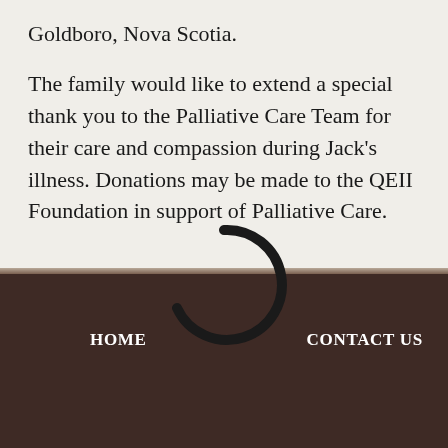Goldboro, Nova Scotia.
The family would like to extend a special thank you to the Palliative Care Team for their care and compassion during Jack's illness. Donations may be made to the QEII Foundation in support of Palliative Care.
[Figure (other): Partial loading spinner / circular arc icon overlapping the content and footer divider]
HOME    CONTACT US